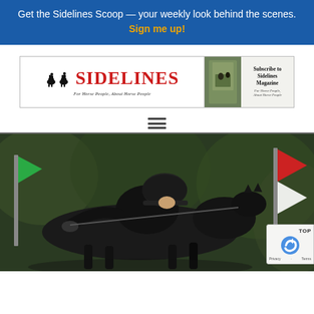Get the Sidelines Scoop — your weekly look behind the scenes. Sign me up!
[Figure (logo): Sidelines Magazine logo banner with horse and rider silhouettes and 'For Horse People, About Horse People' tagline, plus Subscribe to Sidelines Magazine ad]
[Figure (other): Hamburger menu icon (three horizontal lines)]
[Figure (photo): Close-up photo of equestrian rider in black attire and helmet on a dark horse jumping, with flags and green foliage in the background. reCAPTCHA badge overlay in bottom right corner with Privacy and Terms links.]